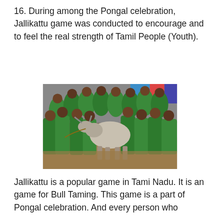16. During among the Pongal celebration, Jallikattu game was conducted to encourage and to feel the real strength of Tamil People (Youth).
[Figure (photo): A crowd of people mostly wearing green shorts and shirts gathered around a bull, participating in the Jallikattu bull taming event during Pongal celebration. The participants are on a dirt arena, with colorful banners visible in the background.]
Jallikattu is a popular game in Tami Nadu. It is an game for Bull Taming. This game is a part of Pongal celebration. And every person who